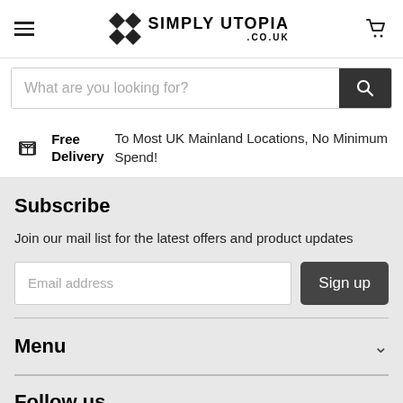Simply Utopia .co.uk
What are you looking for?
Free Delivery — To Most UK Mainland Locations, No Minimum Spend!
Subscribe
Join our mail list for the latest offers and product updates
Email address
Menu
Follow us